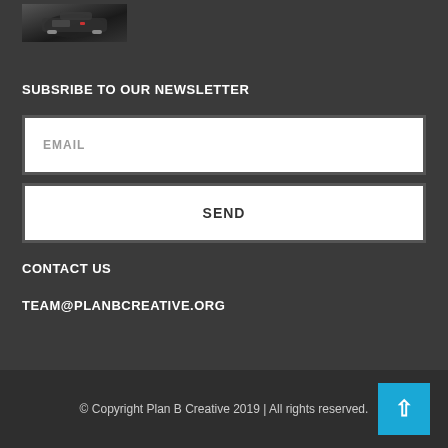[Figure (photo): Small thumbnail image of a car or vehicle scene at top left]
SUBSRIBE TO OUR NEWSLETTER
EMAIL
SEND
CONTACT US
TEAM@PLANBCREATIVE.ORG
© Copyright Plan B Creative 2019 | All rights reserved.